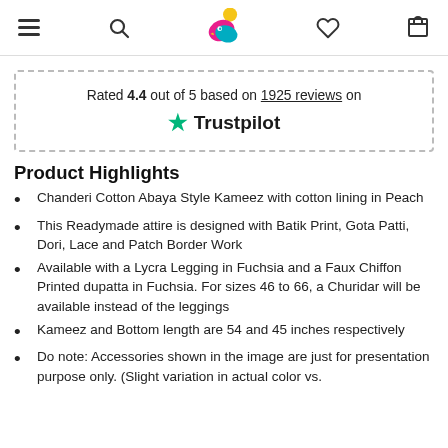Navigation header with hamburger menu, search, logo, heart, and cart icons
Rated 4.4 out of 5 based on 1925 reviews on Trustpilot
Product Highlights
Chanderi Cotton Abaya Style Kameez with cotton lining in Peach
This Readymade attire is designed with Batik Print, Gota Patti, Dori, Lace and Patch Border Work
Available with a Lycra Legging in Fuchsia and a Faux Chiffon Printed dupatta in Fuchsia. For sizes 46 to 66, a Churidar will be available instead of the leggings
Kameez and Bottom length are 54 and 45 inches respectively
Do note: Accessories shown in the image are just for presentation purpose only. (Slight variation in actual color vs.